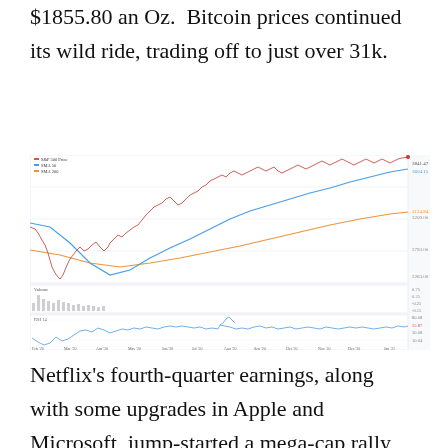$1855.80 an Oz.  Bitcoin prices continued its wild ride, trading off to just over 31k.
[Figure (continuous-plot): S&P 500 price chart with SMA 50 (blue) and SMA 200 (orange) lines, plus Volume and RSI 14 subplots. X-axis spans Feb '20 to Jan '21. Price rises from ~2700 to ~3841.47 with a sharp drop in Mar '20. RSI 14 shown at bottom. Values annotated: 3841.47, 3604.15, 3124.84, 3209.00, 2793.00, 2263.00 on price axis; RSI values 80.08, 55.87, 30.08, 10.04.]
Netflix’s fourth-quarter earnings, along with some upgrades in Apple and Microsoft, jump-started a mega-cap rally for the week.  Netflix